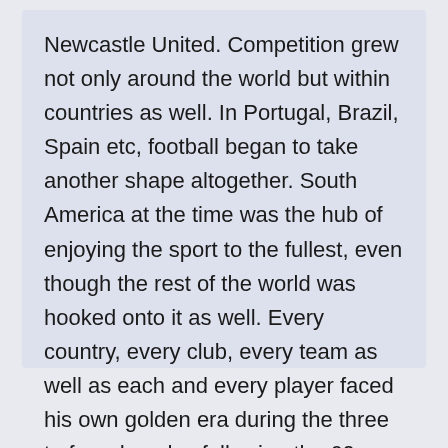Newcastle United. Competition grew not only around the world but within countries as well. In Portugal, Brazil, Spain etc, football began to take another shape altogether. South America at the time was the hub of enjoying the sport to the fullest, even though the rest of the world was hooked onto it as well. Every country, every club, every team as well as each and every player faced his own golden era during the three to four decades following the 60s.